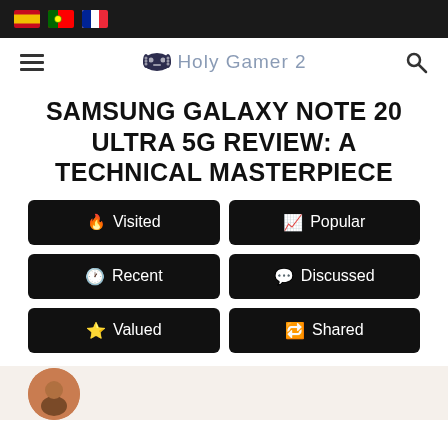Holy Gamer Z - navigation bar with language flags (ES, PT, FR), hamburger menu, logo, search icon
SAMSUNG GALAXY NOTE 20 ULTRA 5G REVIEW: A TECHNICAL MASTERPIECE
Visited
Popular
Recent
Discussed
Valued
Shared
[Figure (photo): Partial view of a circular avatar/profile image at bottom left, showing a brown/orange circular shape]